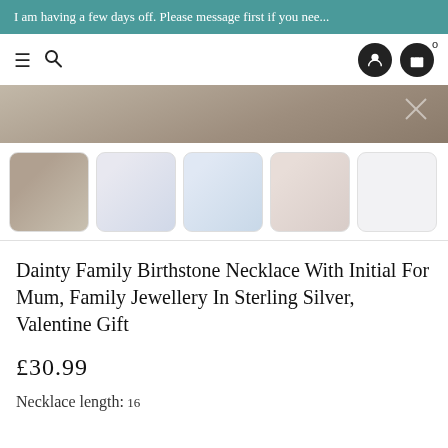I am having a few days off. Please message first if you nee...
[Figure (screenshot): Navigation bar with hamburger menu, search icon, user account icon, and shopping cart icon with 0 badge]
[Figure (photo): Main product image showing a birthstone necklace on a stone/textured background]
[Figure (photo): Five thumbnail images of the necklace from different angles]
Dainty Family Birthstone Necklace With Initial For Mum, Family Jewellery In Sterling Silver, Valentine Gift
£30.99
Necklace length: 16